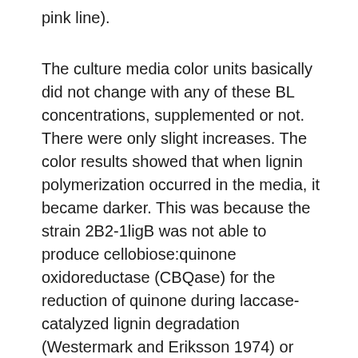pink line).
The culture media color units basically did not change with any of these BL concentrations, supplemented or not. There were only slight increases. The color results showed that when lignin polymerization occurred in the media, it became darker. This was because the strain 2B2-1ligB was not able to produce cellobiose:quinone oxidoreductase (CBQase) for the reduction of quinone during laccase-catalyzed lignin degradation (Westermark and Eriksson 1974) or quinone dehydrogenase enzyme for decolorization of the BL lignin (Bandounas et al. 2013). The diversity of the Bacillus sp. showed that some strains degraded lignin without decolorization/mineralization, but continued lignin polymerization.